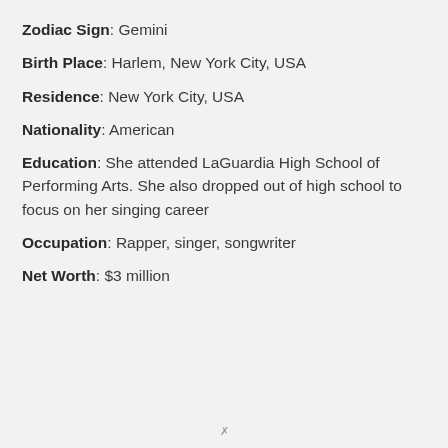Zodiac Sign: Gemini
Birth Place: Harlem, New York City, USA
Residence: New York City, USA
Nationality: American
Education: She attended LaGuardia High School of Performing Arts. She also dropped out of high school to focus on her singing career
Occupation: Rapper, singer, songwriter
Net Worth: $3 million